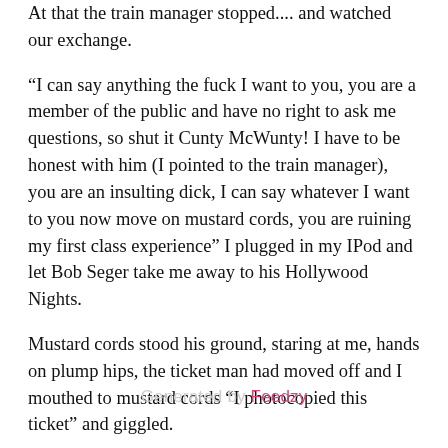At that the train manager stopped.... and watched our exchange.
“I can say anything the fuck I want to you, you are a member of the public and have no right to ask me questions, so shut it Cunty McWunty! I have to be honest with him (I pointed to the train manager), you are an insulting dick, I can say whatever I want to you now move on mustard cords, you are ruining my first class experience” I plugged in my IPod and let Bob Seger take me away to his Hollywood Nights.
Mustard cords stood his ground, staring at me, hands on plump hips, the ticket man had moved off and I mouthed to mustard cords “I photocopied this ticket” and giggled.
He was about to explode when the catering guy appeared , I unplugged my ears, he poured me a coffee and said “Hiya Janey, how you- fancy a
Generated by Feedzy